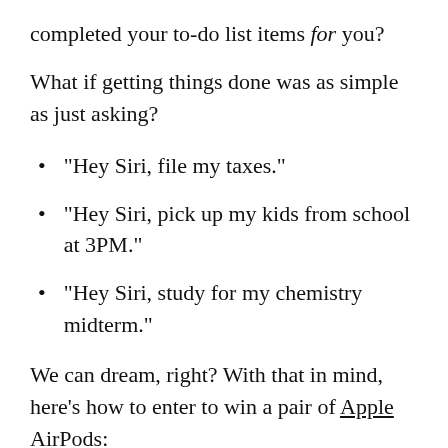completed your to-do list items for you?
What if getting things done was as simple as just asking?
“Hey Siri, file my taxes.”
“Hey Siri, pick up my kids from school at 3PM.”
“Hey Siri, study for my chemistry midterm.”
We can dream, right? With that in mind, here’s how to enter to win a pair of Apple AirPods:
Head to Twitter and tweet the one task you’d